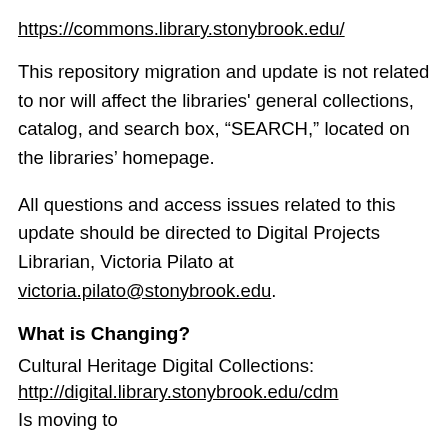https://commons.library.stonybrook.edu/
This repository migration and update is not related to nor will affect the libraries’ general collections, catalog, and search box, “SEARCH,” located on the libraries’ homepage.
All questions and access issues related to this update should be directed to Digital Projects Librarian, Victoria Pilato at victoria.pilato@stonybrook.edu.
What is Changing?
Cultural Heritage Digital Collections:
http://digital.library.stonybrook.edu/cdm
Is moving to